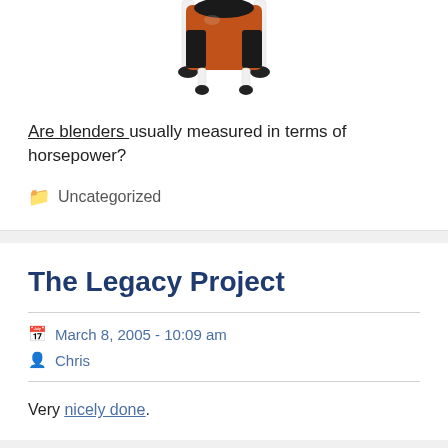[Figure (photo): Photo of a blender with red/orange body, black accents, and white legs/tubes, shown from below/front angle]
Are blenders usually measured in terms of horsepower?
Uncategorized
The Legacy Project
March 8, 2005 - 10:09 am
Chris
Very nicely done.